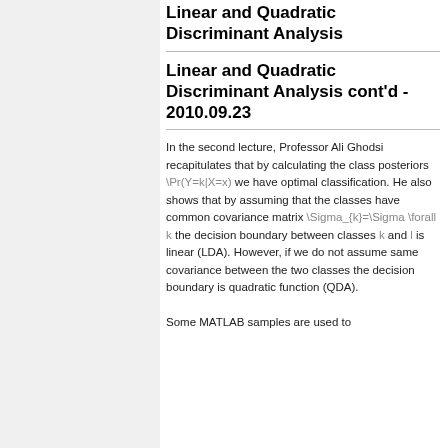Linear and Quadratic Discriminant Analysis
Linear and Quadratic Discriminant Analysis cont'd - 2010.09.23
In the second lecture, Professor Ali Ghodsi recapitulates that by calculating the class posteriors \Pr(Y=k|X=x) we have optimal classification. He also shows that by assuming that the classes have common covariance matrix \Sigma_{k}=\Sigma \forall k the decision boundary between classes k and l is linear (LDA). However, if we do not assume same covariance between the two classes the decision boundary is quadratic function (QDA).
Some MATLAB samples are used to